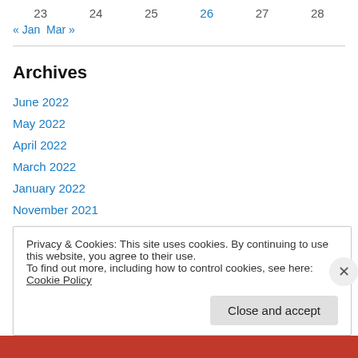23  24  25  26  27  28
« Jan   Mar »
Archives
June 2022
May 2022
April 2022
March 2022
January 2022
November 2021
October 2021
Privacy & Cookies: This site uses cookies. By continuing to use this website, you agree to their use.
To find out more, including how to control cookies, see here: Cookie Policy
Close and accept